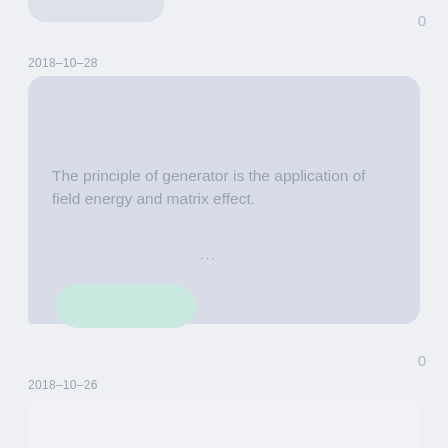0
2018-10-28
The principle of generator is the application of field energy and matrix effect.
...
0
2018-10-26